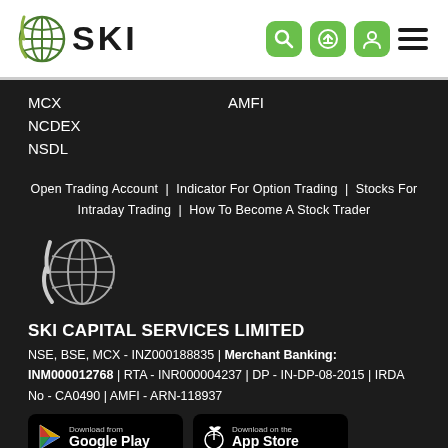[Figure (logo): SKI logo with globe icon and bold SKI text]
[Figure (other): Navigation icons: search, login, profile (green buttons), and hamburger menu]
MCX
AMFI
NCDEX
NSDL
Open Trading Account | Indicator For Option Trading | Stocks For Intraday Trading | How To Become A Stock Trader
[Figure (logo): Large SKI globe logo icon in white on dark background]
SKI CAPITAL SERVICES LIMITED
NSE, BSE, MCX - INZ000188835 | Merchant Banking: INM000012768 | RTA - INR000004237 | DP - IN-DP-08-2015 | IRDA No - CA0490 | AMFI - ARN-118937
[Figure (screenshot): Google Play download badge]
[Figure (screenshot): App Store download badge]